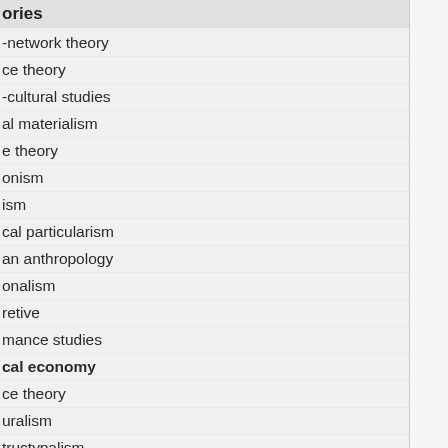ories
-network theory
ce theory
-cultural studies
al materialism
e theory
onism
ism
cal particularism
an anthropology
onalism
retive
mance studies
cal economy
ce theory
uralism
tructурalism
ms theory